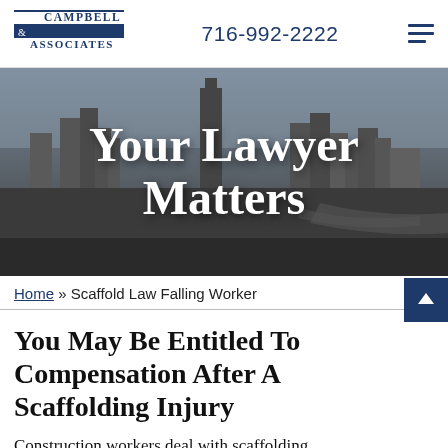Campbell & Associates | 716-992-2222
[Figure (photo): Black and white aerial cityscape of Buffalo NY with skyscrapers and highways, with large white text overlay reading 'Your Lawyer Matters']
Your Lawyer Matters
Home » Scaffold Law Falling Worker
You May Be Entitled To Compensation After A Scaffolding Injury
Construction workers deal with scaffolding.